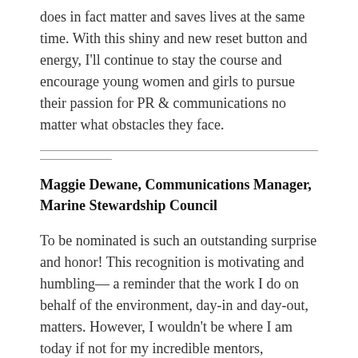does in fact matter and saves lives at the same time. With this shiny and new reset button and energy, I'll continue to stay the course and encourage young women and girls to pursue their passion for PR & communications no matter what obstacles they face.
Maggie Dewane, Communications Manager, Marine Stewardship Council
To be nominated is such an outstanding surprise and honor! This recognition is motivating and humbling— a reminder that the work I do on behalf of the environment, day-in and day-out, matters. However, I wouldn't be where I am today if not for my incredible mentors, teammates, and friends, so this nomination is equally extended to them. My deepest gratitude to all for being a part of my story; together, we are spreading messages of utmost importance